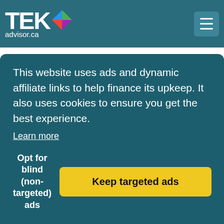TEKadvisor.ca
GPU
AMD 3020e
GPU
AMD Radeon Vega 3 Graphics
Memory
4 GB
Storage
This website uses ads and dynamic affiliate links to help finance its upkeep. It also uses cookies to ensure you get the best experience.
Learn more
Opt for blind (non-targeted) ads
Keep targeted ads